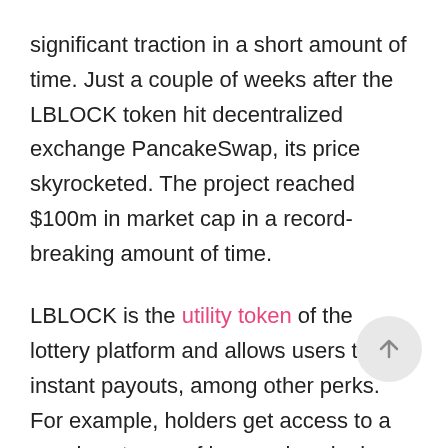significant traction in a short amount of time. Just a couple of weeks after the LBLOCK token hit decentralized exchange PancakeSwap, its price skyrocketed. The project reached $100m in market cap in a record-breaking amount of time.
LBLOCK is the utility token of the lottery platform and allows users to get instant payouts, among other perks. For example, holders get access to a passive stream of income by winning a percentage of each jackpot, regardless of whether they participate or not. The token